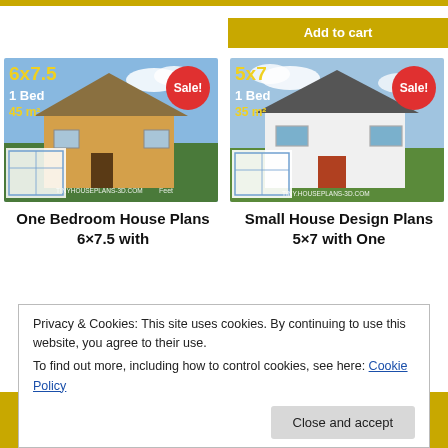[Figure (screenshot): E-commerce page showing house plan products and cookie consent popup]
Add to cart
[Figure (photo): 6x7.5 One Bedroom small house with Sale badge, TINYHOUSEPLANS-3D.COM]
[Figure (photo): 5x7 One Bedroom Small House Design with Sale badge, TINYHOUSEPLANS-3D.COM]
One Bedroom House Plans 6×7.5 with
Small House Design Plans 5×7 with One
Privacy & Cookies: This site uses cookies. By continuing to use this website, you agree to their use.
To find out more, including how to control cookies, see here: Cookie Policy
Close and accept